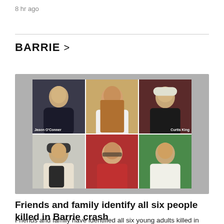8 hr ago
BARRIE >
[Figure (photo): A 2x3 grid of portrait photos of six young adults killed in a Barrie crash. Top row, left to right: Jason O'Conner (young man in dark shirt), unnamed young woman (long brown hair), Curtis King (young man in black shirt and cap). Bottom row: young man in black cap holding phone, young woman with glasses and red top, young man in white sleeveless shirt outdoors.]
Friends and family identify all six people killed in Barrie crash
Friends and family have identified all six young adults killed in